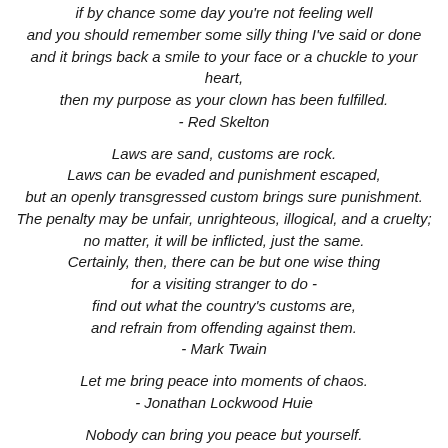if by chance some day you're not feeling well and you should remember some silly thing I've said or done and it brings back a smile to your face or a chuckle to your heart, then my purpose as your clown has been fulfilled. - Red Skelton
Laws are sand, customs are rock. Laws can be evaded and punishment escaped, but an openly transgressed custom brings sure punishment. The penalty may be unfair, unrighteous, illogical, and a cruelty; no matter, it will be inflicted, just the same. Certainly, then, there can be but one wise thing for a visiting stranger to do - find out what the country's customs are, and refrain from offending against them. - Mark Twain
Let me bring peace into moments of chaos. - Jonathan Lockwood Huie
Nobody can bring you peace but yourself. - Ralph Waldo Emerson